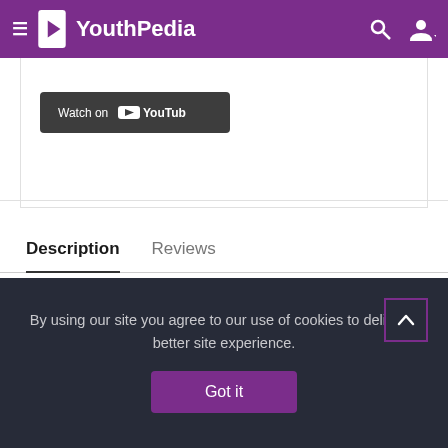YouthPedia
Designer: Sandy Wu
[Figure (screenshot): Watch on YouTube button — dark grey rectangular button with YouTube logo and 'Watch on YouTube' text in white]
Description
Reviews
By using our site you agree to our use of cookies to deliver a better site experience.
Got it